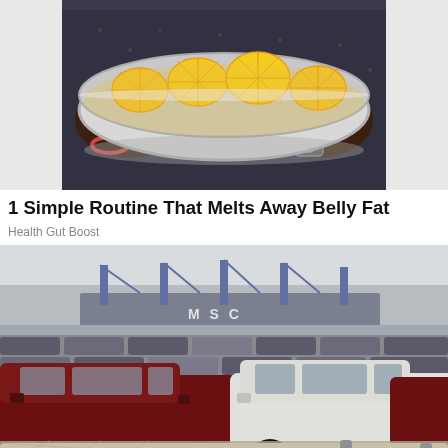[Figure (photo): Person holding a metal bowl filled with sliced lemons/citrus fruits. The person is wearing a dark dotted shirt and a bracelet.]
1 Simple Routine That Melts Away Belly Fat
Health Gut Boost
[Figure (photo): Large port/dock area filled with rows of new Toyota FJ Cruiser SUVs awaiting shipping. A large cargo/container ship labeled MSC is visible in the background. A chain-link fence with metal pipes runs along the bottom foreground.]